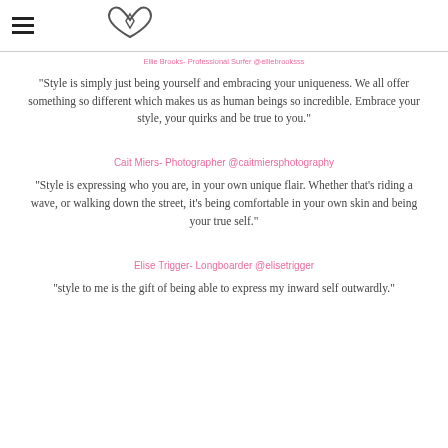Ellie Brooks- Professional Surfer @elliebrooksss
“Style is simply just being yourself and embracing your uniqueness. We all offer something so different which makes us as human beings so incredible. Embrace your style, your quirks and be true to you.”
Cait Miers- Photographer @caitmiersphotography
“Style is expressing who you are, in your own unique flair. Whether that’s riding a wave, or walking down the street, it’s being comfortable in your own skin and being your true self.”
Elise Trigger- Longboarder @elisetrigger
“style to me is the gift of being able to express my inward self outwardly.”